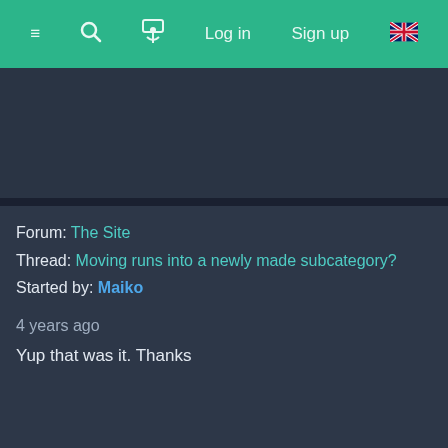≡  🔍  ⏳  Log in  Sign up  🇬🇧
Forum: The Site
Thread: Moving runs into a newly made subcategory?
Started by: Maiko
4 years ago
Yup that was it. Thanks